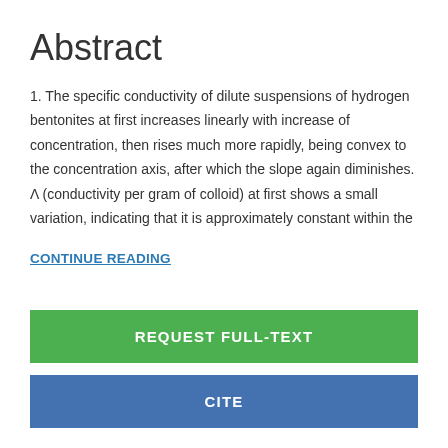Abstract
1. The specific conductivity of dilute suspensions of hydrogen bentonites at first increases linearly with increase of concentration, then rises much more rapidly, being convex to the concentration axis, after which the slope again diminishes. Λ (conductivity per gram of colloid) at first shows a small variation, indicating that it is approximately constant within the
CONTINUE READING
REQUEST FULL-TEXT
CITE